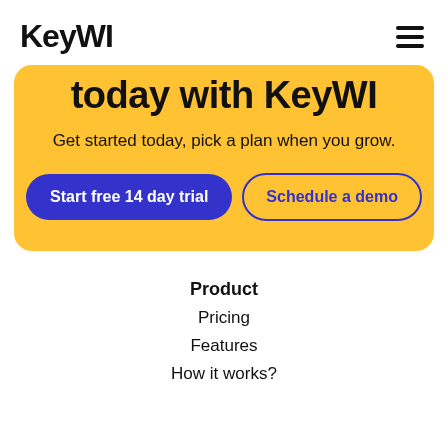KeyWI
today with KeyWI
Get started today, pick a plan when you grow.
Start free 14 day trial
Schedule a demo
Product
Pricing
Features
How it works?